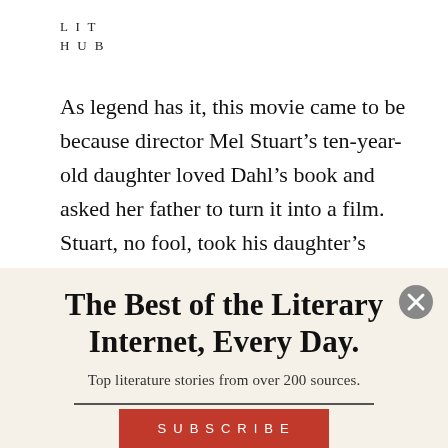LIT
HUB
As legend has it, this movie came to be because director Mel Stuart’s ten-year-old daughter loved Dahl’s book and asked her father to turn it into a film. Stuart, no fool, took his daughter’s advice and had Dahl himself write the screenplay. According to Dahl’s authorized
The Best of the Literary Internet, Every Day.
Top literature stories from over 200 sources.
SUBSCRIBE